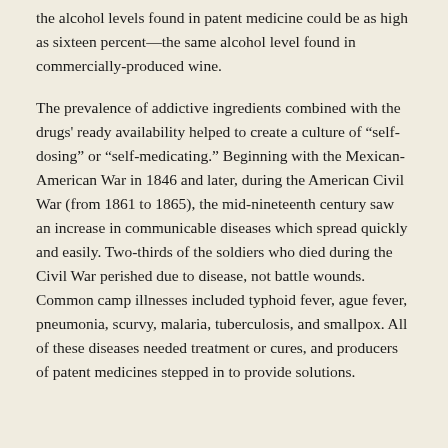the alcohol levels found in patent medicine could be as high as sixteen percent—the same alcohol level found in commercially-produced wine.
The prevalence of addictive ingredients combined with the drugs' ready availability helped to create a culture of “self-dosing” or “self-medicating.” Beginning with the Mexican-American War in 1846 and later, during the American Civil War (from 1861 to 1865), the mid-nineteenth century saw an increase in communicable diseases which spread quickly and easily. Two-thirds of the soldiers who died during the Civil War perished due to disease, not battle wounds. Common camp illnesses included typhoid fever, ague fever, pneumonia, scurvy, malaria, tuberculosis, and smallpox. All of these diseases needed treatment or cures, and producers of patent medicines stepped in to provide solutions.